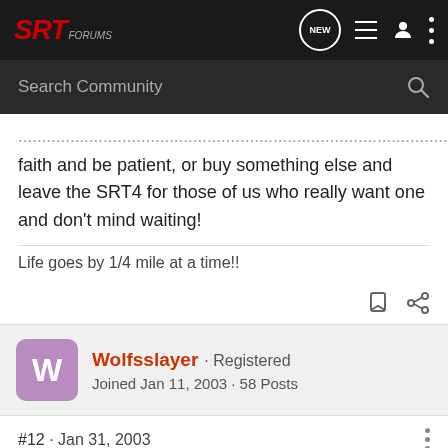SRT FORUMS
faith and be patient, or buy something else and leave the SRT4 for those of us who really want one and don't mind waiting!
Life goes by 1/4 mile at a time!!
Wolfsslayer · Registered
Joined Jan 11, 2003 · 58 Posts
#12 · Jan 31, 2003
With the economy being the way it is and the automobile